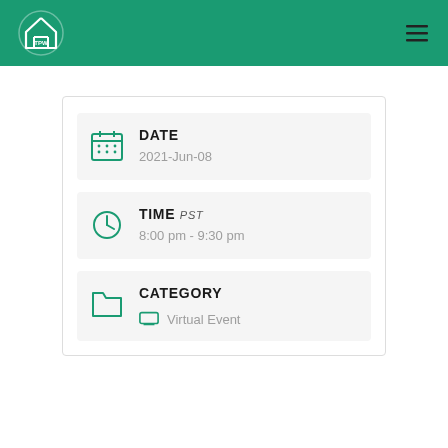TPW logo and navigation
DATE
2021-Jun-08
TIME PST
8:00 pm - 9:30 pm
CATEGORY
Virtual Event